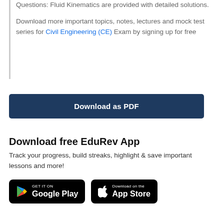Questions: Fluid Kinematics are provided with detailed solutions.
Download more important topics, notes, lectures and mock test series for Civil Engineering (CE) Exam by signing up for free
[Figure (other): Dark blue 'Download as PDF' button]
Download free EduRev App
Track your progress, build streaks, highlight & save important lessons and more!
[Figure (other): Google Play and App Store download badges]